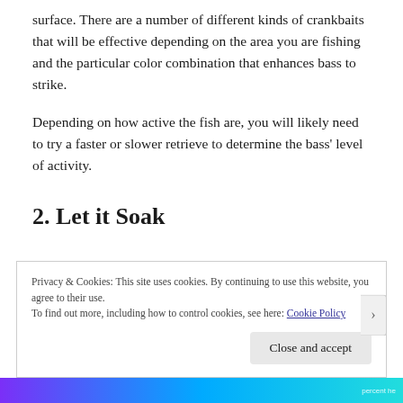surface. There are a number of different kinds of crankbaits that will be effective depending on the area you are fishing and the particular color combination that enhances bass to strike.
Depending on how active the fish are, you will likely need to try a faster or slower retrieve to determine the bass' level of activity.
2. Let it Soak
Privacy & Cookies: This site uses cookies. By continuing to use this website, you agree to their use.
To find out more, including how to control cookies, see here: Cookie Policy
Close and accept